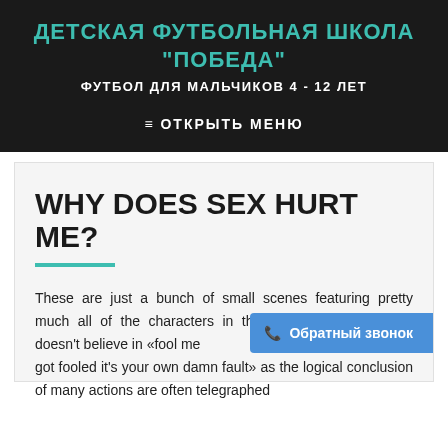ДЕТСКАЯ ФУТБОЛЬНАЯ ШКОЛА "ПОБЕДА"
ФУТБОЛ ДЛЯ МАЛЬЧИКОВ 4 - 12 ЛЕТ
≡ ОТКРЫТЬ МЕНЮ
WHY DOES SEX HURT ME?
These are just a bunch of small scenes featuring pretty much all of the characters in the above stories. GRRM doesn't believe in «fool me once», s, «well if you got fooled it's your own damn fault» as the logical conclusion of many actions are often telegraphed